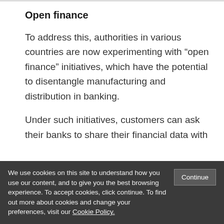Open finance
To address this, authorities in various countries are now experimenting with “open finance” initiatives, which have the potential to disentangle manufacturing and distribution in banking.
Under such initiatives, customers can ask their banks to share their financial data with
We use cookies on this site to understand how you use our content, and to give you the best browsing experience. To accept cookies, click continue. To find out more about cookies and change your preferences, visit our Cookie Policy.